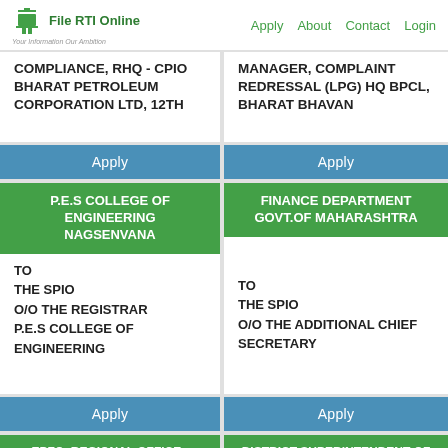File RTI Online | Your Information Our Ambition | Apply | About | Contact | Login
COMPLIANCE, RHQ - CPIO BHARAT PETROLEUM CORPORATION LTD, 12TH
MANAGER, COMPLAINT REDRESSAL (LPG) HQ BPCL, BHARAT BHAVAN
Apply
Apply
P.E.S COLLEGE OF ENGINEERING NAGSENVANA
FINANCE DEPARTMENT GOVT.OF MAHARASHTRA
TO
THE SPIO
O/O THE REGISTRAR
P.E.S COLLEGE OF ENGINEERING
TO
THE SPIO
O/O THE ADDITIONAL CHIEF SECRETARY
Apply
Apply
EPFO, REGIONAL OFFICE - KANDIVALI
DISTRICT SUPERINTENDENT OF LAND